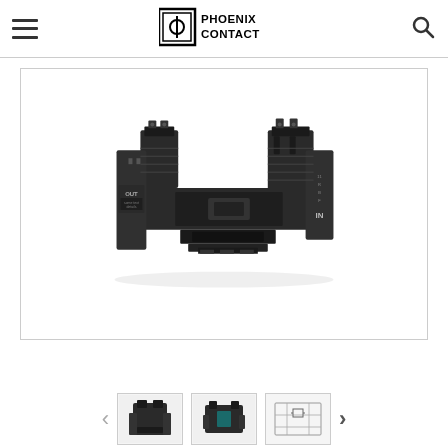Phoenix Contact
[Figure (photo): Phoenix Contact electronic component - relay base/socket module with screw terminals, labeled OUT and IN, DIN rail mount, dark gray/black housing, shown in perspective view]
[Figure (photo): Thumbnail 1: Similar Phoenix Contact relay module, angled view]
[Figure (photo): Thumbnail 2: Similar Phoenix Contact relay module, different angle]
[Figure (engineering-diagram): Thumbnail 3: Technical diagram/schematic of the relay module]